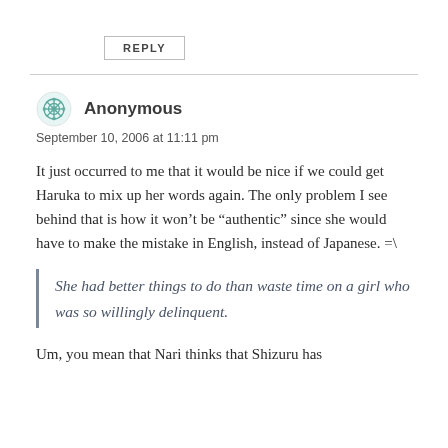REPLY
Anonymous
September 10, 2006 at 11:11 pm
It just occurred to me that it would be nice if we could get Haruka to mix up her words again. The only problem I see behind that is how it won’t be “authentic” since she would have to make the mistake in English, instead of Japanese. =\
She had better things to do than waste time on a girl who was so willingly delinquent.
Um, you mean that Nari thinks that Shizuru has